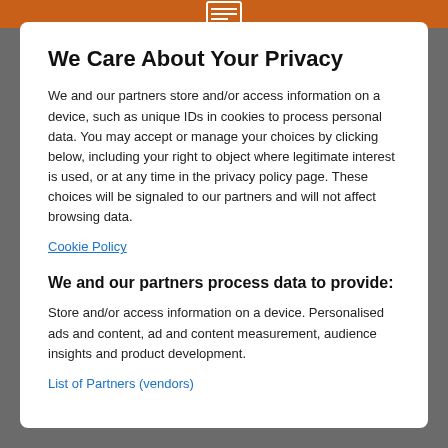We Care About Your Privacy
We and our partners store and/or access information on a device, such as unique IDs in cookies to process personal data. You may accept or manage your choices by clicking below, including your right to object where legitimate interest is used, or at any time in the privacy policy page. These choices will be signaled to our partners and will not affect browsing data.
Cookie Policy
We and our partners process data to provide:
Store and/or access information on a device. Personalised ads and content, ad and content measurement, audience insights and product development.
List of Partners (vendors)